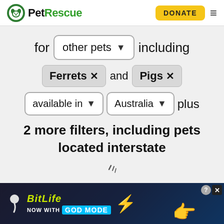[Figure (logo): PetRescue logo with green circle containing a dog silhouette and green text 'PetRescue']
DONATE
for other pets ▼ including
Ferrets ✕ and Pigs ✕
available in ▼ Australia ▼ plus
2 more filters, including pets
located interstate
[Figure (screenshot): BitLife advertisement banner with sperm icon, BitLife text in yellow-green, 'NOW WITH GOD MODE' text, lightning bolt, pointing hand emoji, question mark and X close buttons]